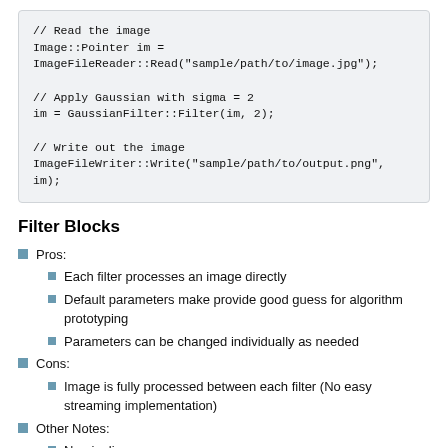// Read the image
Image::Pointer im =
ImageFileReader::Read("sample/path/to/image.jpg");

// Apply Gaussian with sigma = 2
im = GaussianFilter::Filter(im, 2);

// Write out the image
ImageFileWriter::Write("sample/path/to/output.png",
im);
Filter Blocks
Pros:
Each filter processes an image directly
Default parameters make provide good guess for algorithm prototyping
Parameters can be changed individually as needed
Cons:
Image is fully processed between each filter (No easy streaming implementation)
Other Notes:
No pipeline
Uses object-oriented paradigm so filters must be instantiated